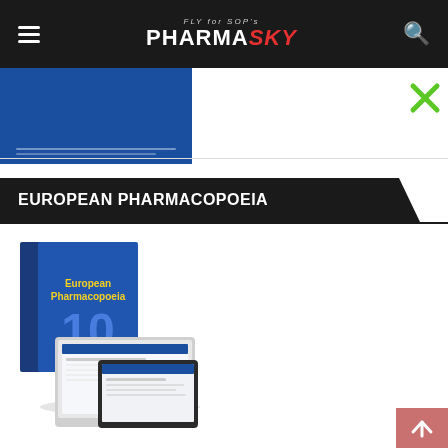PharmaSky - FLY for SOPs
[Figure (screenshot): Blue book cover thumbnail - pharmaceutical reference document]
[Figure (illustration): Green X close button icon]
EUROPEAN PHARMACOPOEIA
[Figure (photo): European Pharmacopoeia 10th edition book with laptop and tablet digital versions shown]
[Figure (illustration): Scroll to top pink button with up arrow]